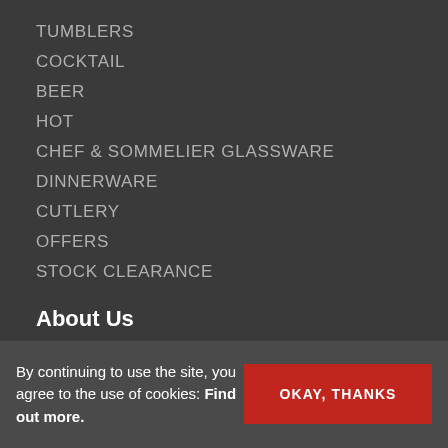TUMBLERS
COCKTAIL
BEER
HOT
CHEF & SOMMELIER GLASSWARE
DINNERWARE
CUTLERY
OFFERS
STOCK CLEARANCE
About Us
Founded in 2011 The Well Laid Table is a leading UK distributor of high end technologically advanced Chef & Sommelier and Arcoroc
By continuing to use the site, you agree to the use of cookies: Find out more.